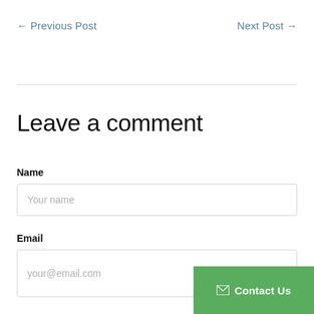← Previous Post
Next Post →
Leave a comment
Name
Your name
Email
your@email.com
Contact Us